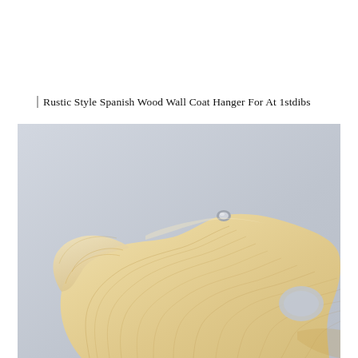Rustic Style Spanish Wood Wall Coat Hanger For At 1stdibs
[Figure (photo): Close-up photograph of a rustic light-colored wooden wall coat hanger with organic, wavy sculptural form, carved wood grain visible, placed against a pale gray background.]